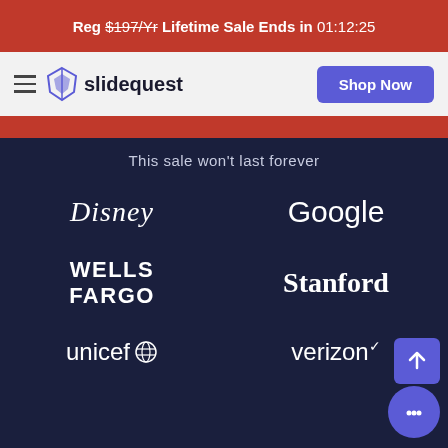Reg $197/Yr Lifetime Sale Ends in 01:12:25
[Figure (logo): Slidequest logo with navigation bar and Shop Now button]
This sale won't last forever
[Figure (logo): Disney logo (white text on dark navy background)]
[Figure (logo): Google logo (white text on dark navy background)]
[Figure (logo): Wells Fargo logo (white text on dark navy background)]
[Figure (logo): Stanford logo (white text on dark navy background)]
[Figure (logo): UNICEF logo with globe icon (white text on dark navy background)]
[Figure (logo): Verizon logo with checkmark (white text on dark navy background)]